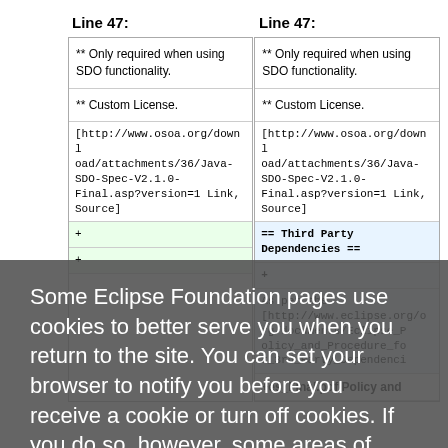Line 47:
Line 47:
** Only required when using SDO functionality.
** Only required when using SDO functionality.
** Custom License.
** Custom License.
[http://www.osoa.org/download/attachments/36/Java-SDO-Spec-V2.1.0-Final.asp?version=1 Link, Source]
[http://www.osoa.org/download/attachments/36/Java-SDO-Spec-V2.1.0-Final.asp?version=1 Link, Source]
== Third Party Dependencies ==
As per the [http://www.eclipse.org/o rg/documents/Eclipse_Policy_and_Procedure_for_3rd_Party_Dependencies_Final.pdf Policy and
Some Eclipse Foundation pages use cookies to better serve you when you return to the site. You can set your browser to notify you before you receive a cookie or turn off cookies. If you do so, however, some areas of some sites may not function properly. To read Eclipse Foundation Privacy Policy click here.
Decline
Allow cookies